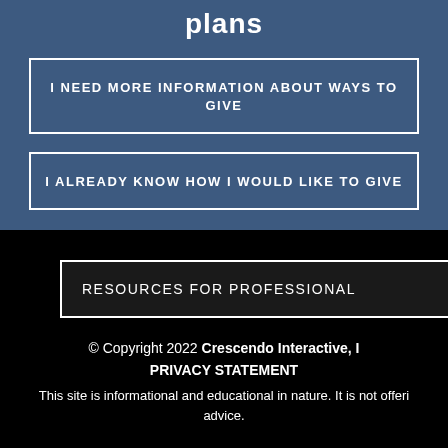plans
I NEED MORE INFORMATION ABOUT WAYS TO GIVE
I ALREADY KNOW HOW I WOULD LIKE TO GIVE
RESOURCES FOR PROFESSIONAL
© Copyright 2022 Crescendo Interactive, I
PRIVACY STATEMENT
This site is informational and educational in nature. It is not offeri advice.